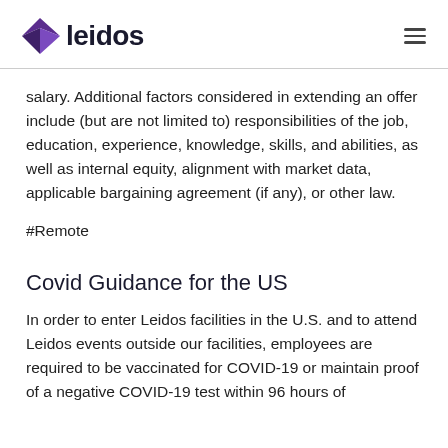leidos
salary. Additional factors considered in extending an offer include (but are not limited to) responsibilities of the job, education, experience, knowledge, skills, and abilities, as well as internal equity, alignment with market data, applicable bargaining agreement (if any), or other law.
#Remote
Covid Guidance for the US
In order to enter Leidos facilities in the U.S. and to attend Leidos events outside our facilities, employees are required to be vaccinated for COVID-19 or maintain proof of a negative COVID-19 test within 96 hours of